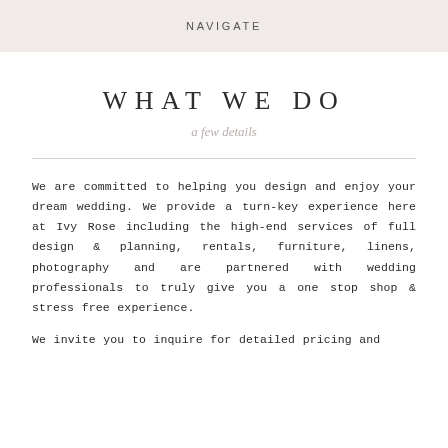NAVIGATE
WHAT WE DO
a few details
We are committed to helping you design and enjoy your dream wedding. We provide a turn-key experience here at Ivy Rose including the high-end services of full design & planning, rentals, furniture, linens, photography and are partnered with wedding professionals to truly give you a one stop shop & stress free experience.
We invite you to inquire for detailed pricing and